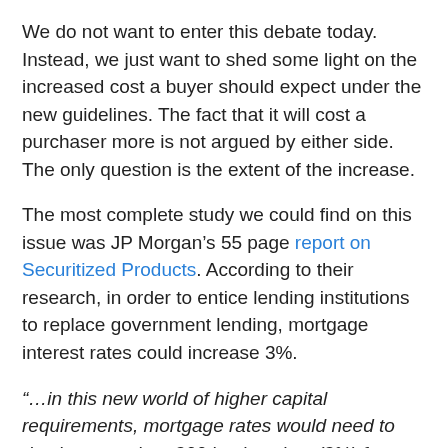We do not want to enter this debate today. Instead, we just want to shed some light on the increased cost a buyer should expect under the new guidelines. The fact that it will cost a purchaser more is not argued by either side. The only question is the extent of the increase.
The most complete study we could find on this issue was JP Morgan's 55 page report on Securitized Products. According to their research, in order to entice lending institutions to replace government lending, mortgage interest rates could increase 3%.
“…in this new world of higher capital requirements, mortgage rates would need to rise by more than 300 basis points (3%) from current levels…”
That’s assuming the banks would be looking for the same returns they previously received. The next question to be answered is…